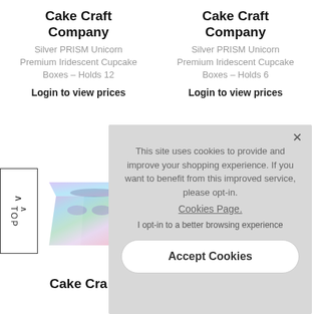Cake Craft Company
Silver PRISM Unicorn Premium Iridescent Cupcake Boxes - Holds 12
Login to view prices
Cake Craft Company
Silver PRISM Unicorn Premium Iridescent Cupcake Boxes - Holds 6
Login to view prices
[Figure (photo): Iridescent/holographic cupcake box with rainbow sheen, partially visible]
This site uses cookies to provide and improve your shopping experience. If you want to benefit from this improved service, please opt-in. Cookies Page. I opt-in to a better browsing experience
Accept Cookies
Cake Craft Company
Company